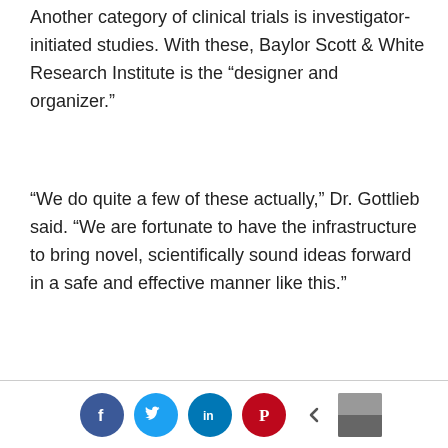Another category of clinical trials is investigator-initiated studies. With these, Baylor Scott & White Research Institute is the “designer and organizer.”
“We do quite a few of these actually,” Dr. Gottlieb said. “We are fortunate to have the infrastructure to bring novel, scientifically sound ideas forward in a safe and effective manner like this.”
One of the anticipated investigator-initiated studies will focus on frontline staff in the hospital. The study is designed to determine if
[Figure (other): Social media sharing bar with Facebook, Twitter, LinkedIn, Pinterest icons and a back arrow]